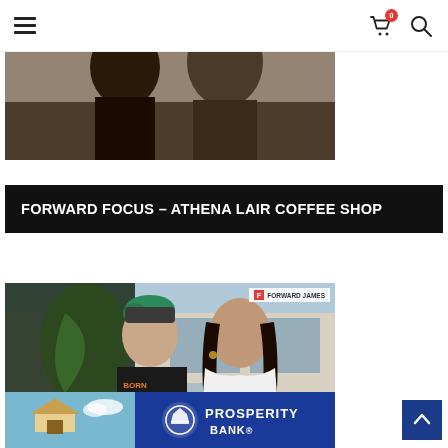Navigation menu and icons (cart with badge 0, search)
[Figure (photo): Cropped photo showing tops of two people's heads/shoulders, dark toned image]
FORWARD FOCUS – ATHENA LAIR COFFEE SHOP
[Figure (photo): Photo of two people standing in front of a coffee shop. Man on the left wearing a black shirt with orange text 'BORN TO BE', has green-tipped hair. Woman on the right wearing white off-shoulder top, smiling. Forward James logo in top right corner of photo.]
[Figure (photo): Partial image of Prosperity Bank advertisement showing blue background with house and Prosperity Bank logo/text]